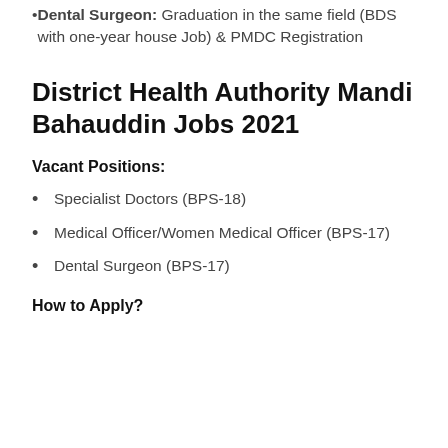Dental Surgeon: Graduation in the same field (BDS with one-year house Job) & PMDC Registration
District Health Authority Mandi Bahauddin Jobs 2021
Vacant Positions:
Specialist Doctors (BPS-18)
Medical Officer/Women Medical Officer (BPS-17)
Dental Surgeon (BPS-17)
How to Apply?